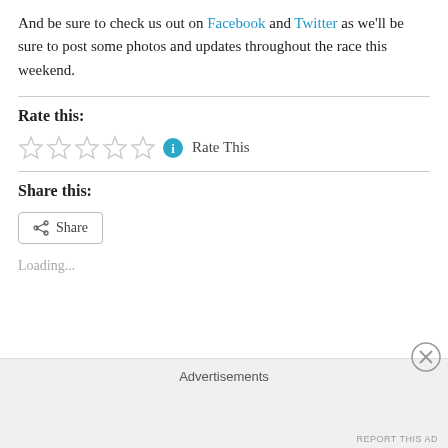And be sure to check us out on Facebook and Twitter as we'll be sure to post some photos and updates throughout the race this weekend.
Rate this:
[Figure (other): Five empty star rating icons followed by a teal info icon and 'Rate This' text]
Share this:
[Figure (other): A Share button with a share icon]
Loading...
Advertisements
REPORT THIS AD